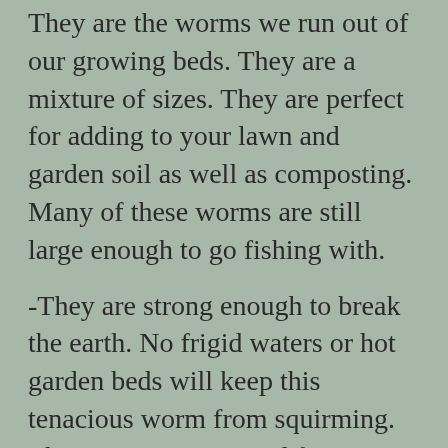They are the worms we run out of our growing beds. They are a mixture of sizes. They are perfect for adding to your lawn and garden soil as well as composting.  Many of these worms are still large enough to go fishing with.
-They are strong enough to break the earth. No frigid waters or hot garden beds will keep this tenacious worm from squirming. This worm was created for one purpose-To withstand the rugged outdoors!
-It makes a great composting worm but its forte is being added